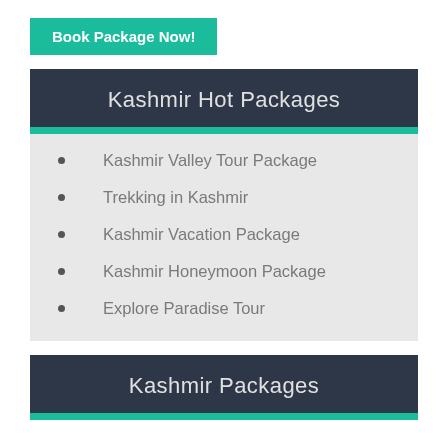Book Package Now!
Kashmir Hot Packages
Kashmir Valley Tour Package
Trekking in Kashmir
Kashmir Vacation Package
Kashmir Honeymoon Package
Explore Paradise Tour
Kashmir Packages